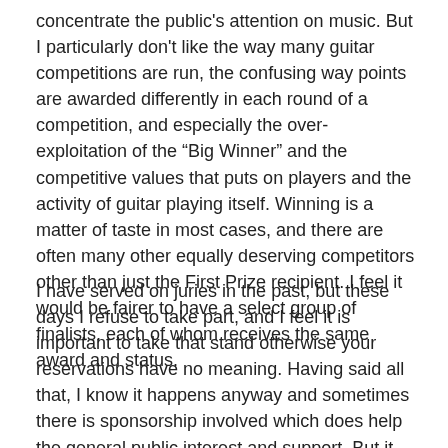concentrate the public's attention on music. But I particularly don't like the way many guitar competitions are run, the confusing way points are awarded differently in each round of a competition, and especially the over-exploitation of the “Big Winner” and the competitive values that puts on players and the activity of guitar playing itself. Winning is a matter of taste in most cases, and there are often many other equally deserving competitors other than just the First Prize recipient. I feel it would be fairer to have a select group of finalists, each of whom receives the same award and status.
I have served on juries in the past, but these days I refuse to take part, and I feel it is important to take that stand otherwise your reservations have no meaning. Having said all that, I know it happens anyway and sometimes there is sponsorship involved which does help the general public interest and support. But it still doesn’t need to be a cut and dried thing, where each finalist is ranked as precisely as 1,2,3. I think it is those competitive values that are wrong, not the celebration of